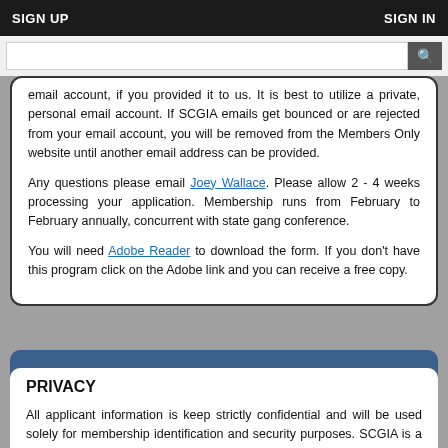SIGN UP | SIGN IN
email account, if you provided it to us. It is best to utilize a private, personal email account. If SCGIA emails get bounced or are rejected from your email account, you will be removed from the Members Only website until another email address can be provided.
Any questions please email Joey Wallace. Please allow 2 - 4 weeks processing your application. Membership runs from February to February annually, concurrent with state gang conference.
You will need Adobe Reader to download the form. If you don't have this program click on the Adobe link and you can receive a free copy.
PRIVACY
All applicant information is keep strictly confidential and will be used solely for membership identification and security purposes. SCGIA is a non-profit organization dedicated to the prevention and suppression of gangs and gang activity. By completing and submitting this application, the applicant agrees to adhere to the SCGIA By-Laws. Applicant attests that he/she is at least 18 years of age as of this date and a Sworn Law